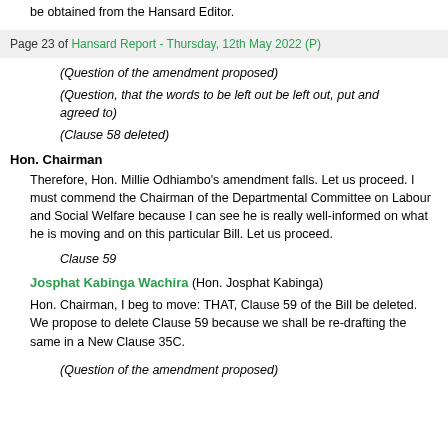be obtained from the Hansard Editor.
Page 23 of Hansard Report - Thursday, 12th May 2022 (P)
(Question of the amendment proposed)
(Question, that the words to be left out be left out, put and agreed to)
(Clause 58 deleted)
Hon. Chairman
Therefore, Hon. Millie Odhiambo’s amendment falls. Let us proceed. I must commend the Chairman of the Departmental Committee on Labour and Social Welfare because I can see he is really well-informed on what he is moving and on this particular Bill. Let us proceed.
Clause 59
Josphat Kabinga Wachira (Hon. Josphat Kabinga)
Hon. Chairman, I beg to move: THAT, Clause 59 of the Bill be deleted. We propose to delete Clause 59 because we shall be re-drafting the same in a New Clause 35C.
(Question of the amendment proposed)